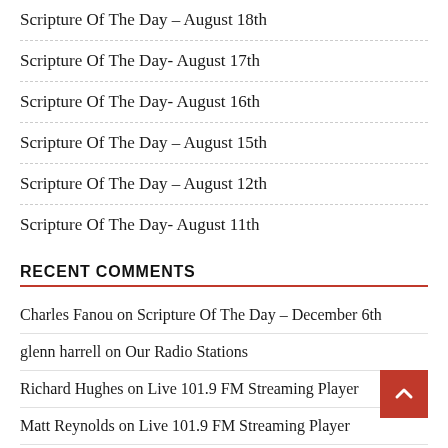Scripture Of The Day – August 18th
Scripture Of The Day- August 17th
Scripture Of The Day- August 16th
Scripture Of The Day – August 15th
Scripture Of The Day – August 12th
Scripture Of The Day- August 11th
RECENT COMMENTS
Charles Fanou on Scripture Of The Day – December 6th
glenn harrell on Our Radio Stations
Richard Hughes on Live 101.9 FM Streaming Player
Matt Reynolds on Live 101.9 FM Streaming Player
Todd wilkes on Our Radio Stations
META